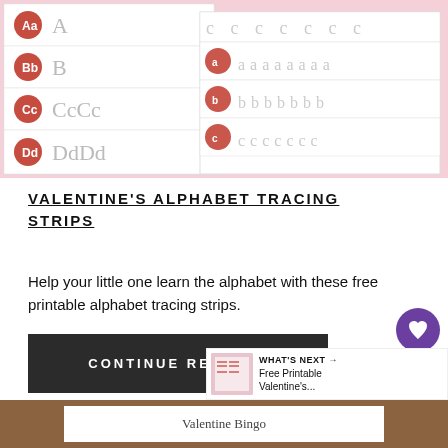[Figure (photo): Valentine's alphabet tracing strips showing letters Aa, Bb, Cc, Dd with red heart icons, and tracing rows with dashed letters a, b, c on the right side]
VALENTINE'S ALPHABET TRACING STRIPS
Help your little one learn the alphabet with these free printable alphabet tracing strips.
CONTINUE READING
[Figure (screenshot): What's Next panel showing thumbnail of Free Printable Valentine's bingo activity with text 'WHAT'S NEXT → Free Printable Valentine's...']
[Figure (photo): Bottom preview image showing Valentine Bingo card on wooden table background]